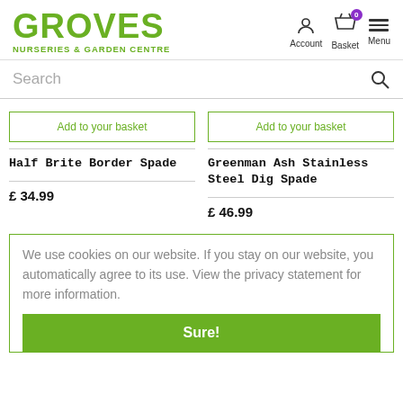GROVES NURSERIES & GARDEN CENTRE — Account, Basket (0), Menu
Search
Add to your basket
Half Brite Border Spade
£ 34.99
Add to your basket
Greenman Ash Stainless Steel Dig Spade
£ 46.99
We use cookies on our website. If you stay on our website, you automatically agree to its use. View the privacy statement for more information.
Sure!